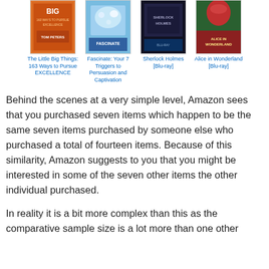[Figure (illustration): Four product covers in a row: 'The Little Big Things: 163 Ways to Pursue EXCELLENCE' (book), 'Fascinate: Your 7 Triggers to Persuasion and Captivation' (book), 'Sherlock Holmes [Blu-ray]' (movie), 'Alice in Wonderland [Blu-ray]' (movie)]
Behind the scenes at a very simple level, Amazon sees that you purchased seven items which happen to be the same seven items purchased by someone else who purchased a total of fourteen items. Because of this similarity, Amazon suggests to you that you might be interested in some of the seven other items the other individual purchased.
In reality it is a bit more complex than this as the comparative sample size is a lot more than one other